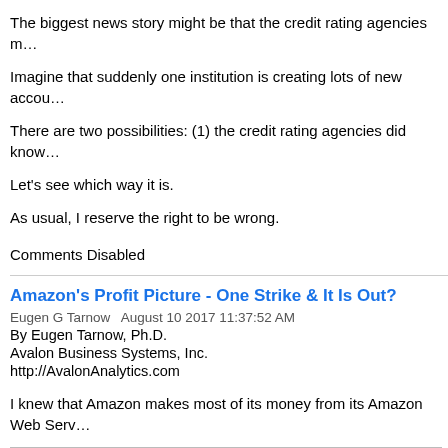The biggest news story might be that the credit rating agencies m…
Imagine that suddenly one institution is creating lots of new accou…
There are two possibilities: (1) the credit rating agencies did know…
Let's see which way it is.
As usual, I reserve the right to be wrong.
Comments Disabled
Amazon's Profit Picture - One Strike & It Is Out?
Eugen G Tarnow  August 10 2017 11:37:52 AM
By Eugen Tarnow, Ph.D.
Avalon Business Systems, Inc.
http://AvalonAnalytics.com
I knew that Amazon makes most of its money from its Amazon Web Serv…
[Figure (other): Amazon operating revenue 2016 chart (partially visible)]